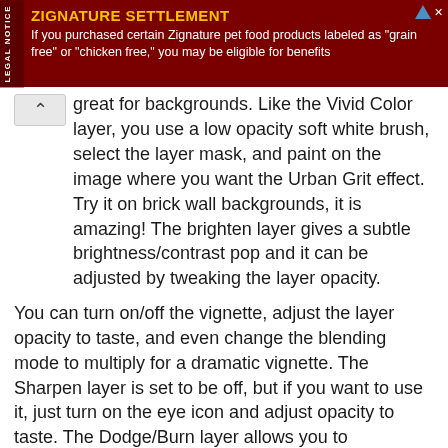[Figure (other): Advertisement banner for Zignature Settlement - dark red background with legal notice sidebar. Title: ZIGNATURE SETTLEMENT. Body: If you purchased certain Zignature pet food products labeled as "grain free" or "chicken free," you may be eligible for benefits]
great for backgrounds. Like the Vivid Color layer, you use a low opacity soft white brush, select the layer mask, and paint on the image where you want the Urban Grit effect. Try it on brick wall backgrounds, it is amazing! The brighten layer gives a subtle brightness/contrast pop and it can be adjusted by tweaking the layer opacity.
You can turn on/off the vignette, adjust the layer opacity to taste, and even change the blending mode to multiply for a dramatic vignette. The Sharpen layer is set to be off, but if you want to use it, just turn on the eye icon and adjust opacity to taste. The Dodge/Burn layer allows you to lighten/brighten parts of the image without destroying the original. Use a low opacity soft white brush to lighten, a low opacity soft black brush to darken.
The retouching layers are from CoffeeShop PowderRoom 2. You might not know you can use the skin soften layer to